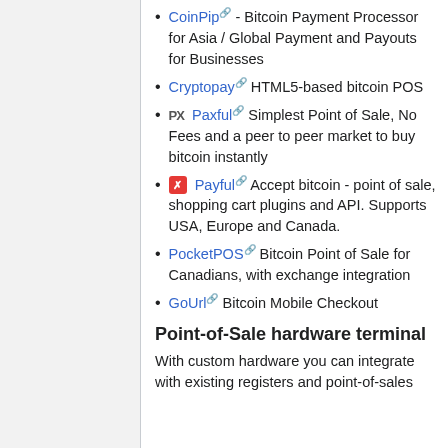CoinPip - Bitcoin Payment Processor for Asia / Global Payment and Payouts for Businesses
Cryptopay HTML5-based bitcoin POS
Paxful Simplest Point of Sale, No Fees and a peer to peer market to buy bitcoin instantly
Payful Accept bitcoin - point of sale, shopping cart plugins and API. Supports USA, Europe and Canada.
PocketPOS Bitcoin Point of Sale for Canadians, with exchange integration
GoUrl Bitcoin Mobile Checkout
Point-of-Sale hardware terminal
With custom hardware you can integrate with existing registers and point-of-sales solutions for…